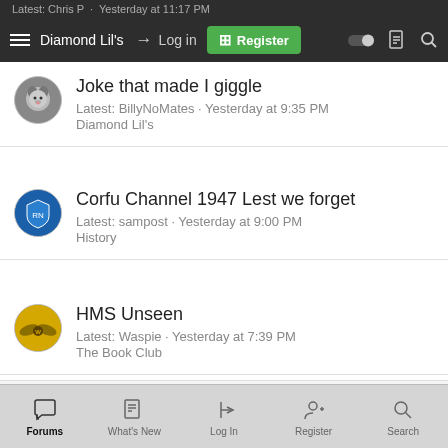Latest: Chris P · Yesterday at 11:17 PM | ☰ Diamond Lil's → Log in ⊞ Register
Joke that made I giggle
Latest: BillyNoMates · Yesterday at 9:35 PM
Diamond Lil's
Corfu Channel 1947 Lest we forget
Latest: sampost · Yesterday at 9:00 PM
History
HMS Unseen
Latest: Waspie · Yesterday at 7:39 PM
The Book Club
Home › Forums › The Serious Bit › MoD News
Forums  What's New  Log In  Register  Search